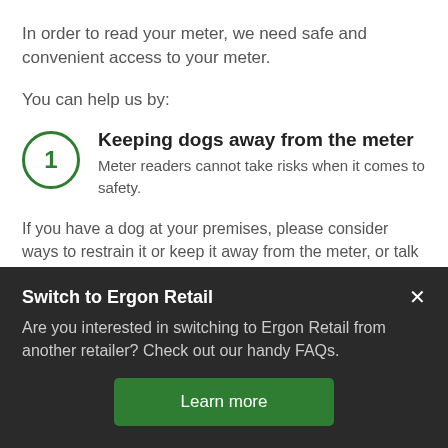In order to read your meter, we need safe and convenient access to your meter.
You can help us by:
1. Keeping dogs away from the meter — Meter readers cannot take risks when it comes to safety.
If you have a dog at your premises, please consider ways to restrain it or keep it away from the meter, or talk to a licensed electrical contractor about relocating your meter box.
Switch to Ergon Retail
Are you interested in switching to Ergon Retail from another retailer? Check out our handy FAQs.
Learn more